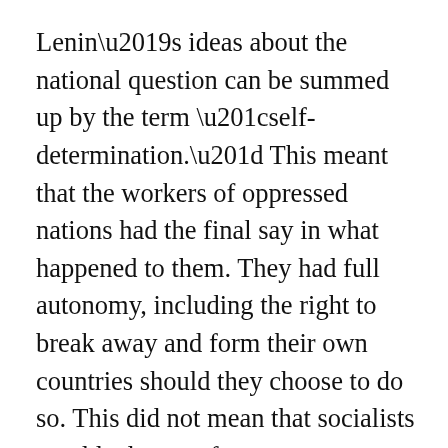Lenin’s ideas about the national question can be summed up by the term “self-determination.” This meant that the workers of oppressed nations had the final say in what happened to them. They had full autonomy, including the right to break away and form their own countries should they choose to do so. This did not mean that socialists would advocate for a separate state in every case. Sometimes, succession would be inadvisable. The concrete results of the struggle for national liberation depended, as all struggles do, on the material conditions of society. Still, the core principle of solidarity with and